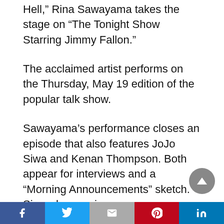Hell,” Rina Sawayama takes the stage on “The Tonight Show Starring Jimmy Fallon.”
The acclaimed artist performs on the Thursday, May 19 edition of the popular talk show.
Sawayama’s performance closes an episode that also features JoJo Siwa and Kenan Thompson. Both appear for interviews and a “Morning Announcements” sketch. Siwa also receives acknowledgement of her birthday.
Filmed in advance, the episode will begin